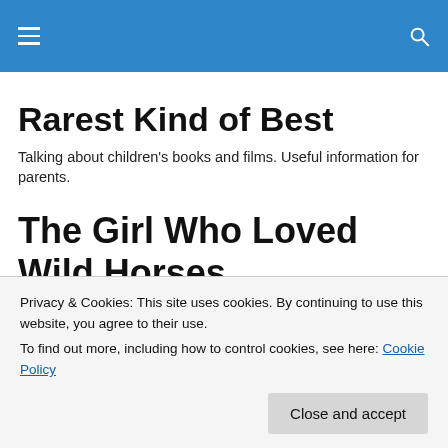Rarest Kind of Best
Talking about children's books and films. Useful information for parents.
The Girl Who Loved Wild Horses
[Figure (illustration): Partial view of a children's book cover with illustrated animals/flowers]
Privacy & Cookies: This site uses cookies. By continuing to use this website, you agree to their use.
To find out more, including how to control cookies, see here: Cookie Policy